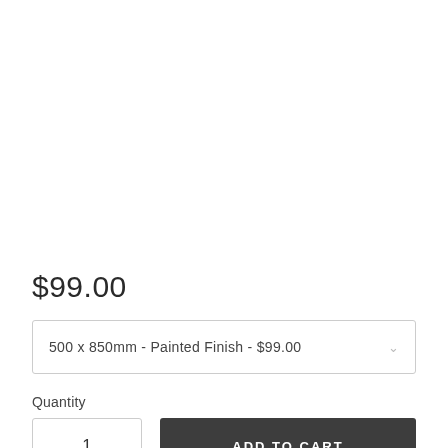$99.00
500 x 850mm - Painted Finish - $99.00
Quantity
1
ADD TO CART